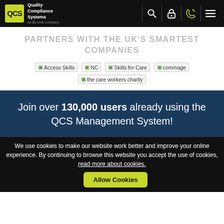[Figure (logo): QCS Quality Compliance Systems navigation bar with logo, search, lock, phone, and menu icons on black background]
PARTNERS WITH THE UK'S SMARTEST COMPANIES
[Figure (infographic): Partner logos row: Access Skills, NC, Skills for Care, commage, the care workers charity — shown as broken image placeholders]
Join over 130,000 users already using the QCS Management System!
We use cookies to make our website work better and improve your online experience. By continuing to browse this website you accept the use of cookies, read more about cookies.